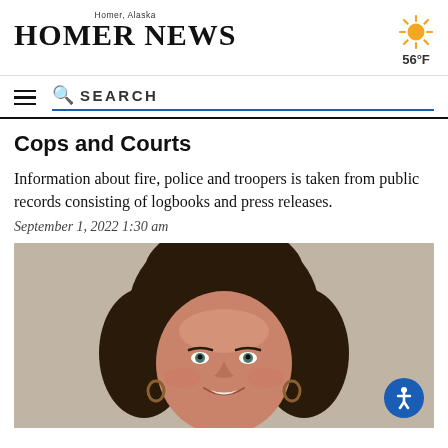Homer, Alaska — HOMER NEWS
56°F
Cops and Courts
Information about fire, police and troopers is taken from public records consisting of logbooks and press releases.
September 1, 2022 1:30 am
[Figure (photo): Portrait photo of a middle-aged woman with dark curly hair, smiling, wearing hoop earrings]